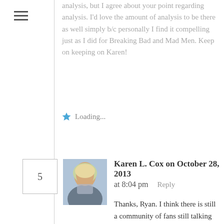[Figure (other): Hamburger menu icon (three horizontal lines) in top-left sidebar]
analysis, but I agree about your point regarding analysis. I'd love the amount of analysis to be there as well simply b/c personally I find it compelling just as I did for Breaking Bad and Mad Men. Keep on keeping on Karen!
★ Loading...
5
[Figure (photo): Profile photo of Karen L. Cox – woman with blonde hair]
Karen L. Cox on October 28, 2013 at 8:04 pm    Reply
Thanks, Ryan. I think there is still a community of fans still talking about OITNB and following cast members on Twitter and Instagram (I know I do). Also, Laverne Cox is making the rounds to college campuses to talk about her own story as well as the show. Just this past week, Lea Delaria (Big Boo) announced a Halloween costume